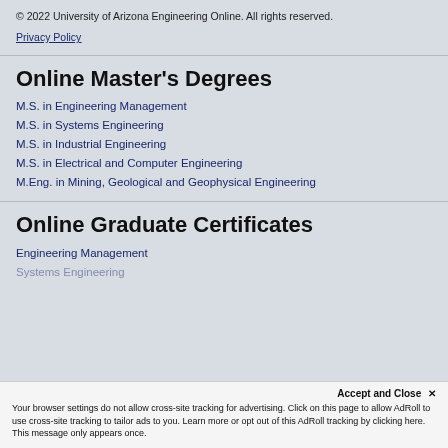© 2022 University of Arizona Engineering Online. All rights reserved.
Privacy Policy
Online Master's Degrees
M.S. in Engineering Management
M.S. in Systems Engineering
M.S. in Industrial Engineering
M.S. in Electrical and Computer Engineering
M.Eng. in Mining, Geological and Geophysical Engineering
Online Graduate Certificates
Engineering Management
Systems Engineering
Accept and Close ✕
Your browser settings do not allow cross-site tracking for advertising. Click on this page to allow AdRoll to use cross-site tracking to tailor ads to you. Learn more or opt out of this AdRoll tracking by clicking here. This message only appears once.